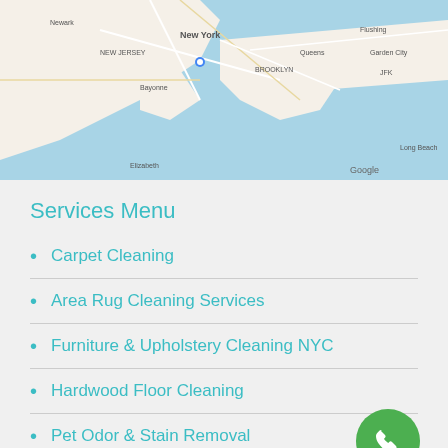[Figure (map): Google Maps view of New York City and surrounding areas including New Jersey, Brooklyn, Queens, Long Island, showing major landmarks and airports.]
Services Menu
Carpet Cleaning
Area Rug Cleaning Services
Furniture & Upholstery Cleaning NYC
Hardwood Floor Cleaning
Pet Odor & Stain Removal
Carpet Beetles Treatment